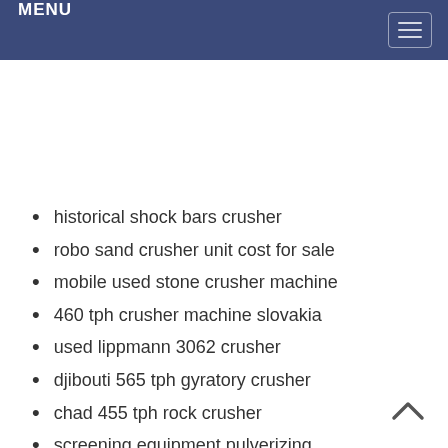MENU
historical shock bars crusher
robo sand crusher unit cost for sale
mobile used stone crusher machine
460 tph crusher machine slovakia
used lippmann 3062 crusher
djibouti 565 tph gyratory crusher
chad 455 tph rock crusher
screening equipment pulverizing